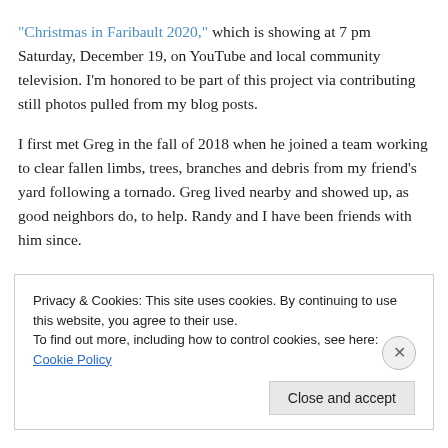"Christmas in Faribault 2020," which is showing at 7 pm Saturday, December 19, on YouTube and local community television. I'm honored to be part of this project via contributing still photos pulled from my blog posts.

I first met Greg in the fall of 2018 when he joined a team working to clear fallen limbs, trees, branches and debris from my friend's yard following a tornado. Greg lived nearby and showed up, as good neighbors do, to help. Randy and I have been friends with him since.
Privacy & Cookies: This site uses cookies. By continuing to use this website, you agree to their use.
To find out more, including how to control cookies, see here: Cookie Policy